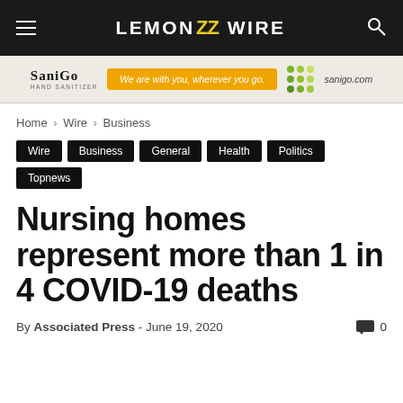LEMON WIRE
[Figure (other): SaniGo Hand Sanitizer advertisement banner: 'We are with you, wherever you go. sanigo.com']
Home › Wire › Business
Wire
Business
General
Health
Politics
Topnews
Nursing homes represent more than 1 in 4 COVID-19 deaths
By Associated Press - June 19, 2020